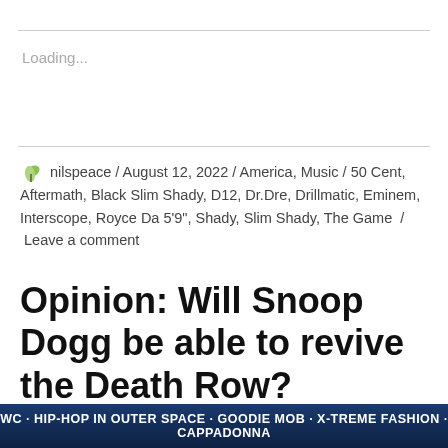Loading...
nilspeace / August 12, 2022 / America, Music / 50 Cent, Aftermath, Black Slim Shady, D12, Dr.Dre, Drillmatic, Eminem, Interscope, Royce Da 5'9", Shady, Slim Shady, The Game / Leave a comment
Opinion: Will Snoop Dogg be able to revive the Death Row?
WC · HIP-HOP IN OUTER SPACE · GOODIE MOB · X-TREME FASHION · CAPPADONNA